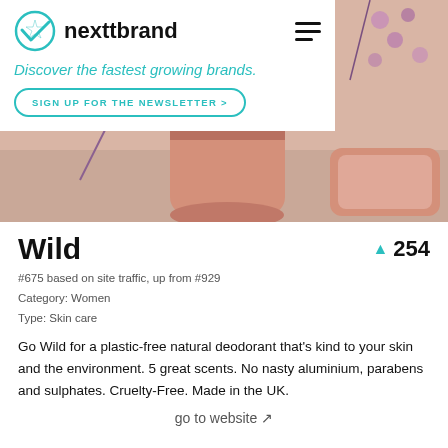nexttbrand
Discover the fastest growing brands.
SIGN UP FOR THE NEWSLETTER >
[Figure (photo): Product photo of Wild deodorant in a pink/rose gold aluminum case with purple flowers on a beige background]
Wild
▲ 254
#675 based on site traffic, up from #929
Category: Women
Type: Skin care
Go Wild for a plastic-free natural deodorant that's kind to your skin and the environment. 5 great scents. No nasty aluminium, parabens and sulphates. Cruelty-Free. Made in the UK.
go to website ↗